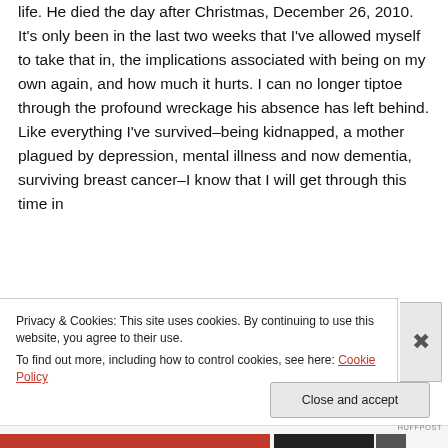life. He died the day after Christmas, December 26, 2010. It's only been in the last two weeks that I've allowed myself to take that in, the implications associated with being on my own again, and how much it hurts. I can no longer tiptoe through the profound wreckage his absence has left behind.
Like everything I've survived–being kidnapped, a mother plagued by depression, mental illness and now dementia, surviving breast cancer–I know that I will get through this time in
Privacy & Cookies: This site uses cookies. By continuing to use this website, you agree to their use.
To find out more, including how to control cookies, see here: Cookie Policy
Close and accept